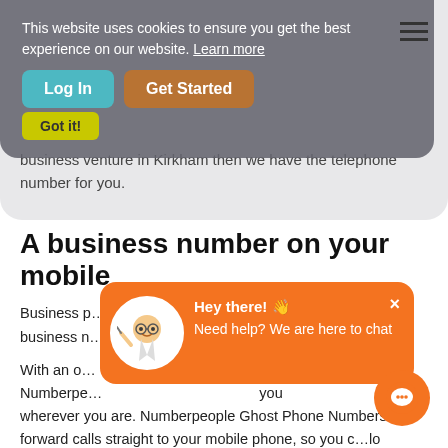[Figure (screenshot): Number People website screenshot with cookie consent banner, navigation buttons (Log In, Get Started), hero section with partial text, and chat popup overlay]
This website uses cookies to ensure you get the best experience on our website. Learn more
Got it!
business venture in Kirkham then we have the telephone number for you.
A business number on your mobile
Business p...nt your business n...
With an o... Numberpe...you wherever you are. Numberpeople Ghost Phone Numbers forward calls straight to your mobile phone, so you c...lo business anywhere without the worry of missing your business call.
Hey there! 👋
Need help? We are here to chat